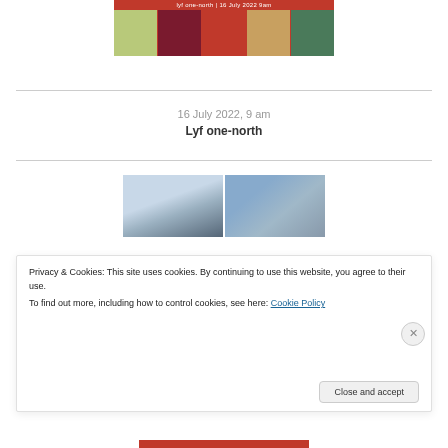[Figure (photo): Banner image for lyf one-north event on 16 July 2022 9am, showing colorful interior photos of the property]
16 July 2022, 9 am
Lyf one-north
[Figure (photo): Two side-by-side photos of a modern glass and concrete building (one-north property) against blue sky]
Privacy & Cookies: This site uses cookies. By continuing to use this website, you agree to their use.
To find out more, including how to control cookies, see here: Cookie Policy
Close and accept